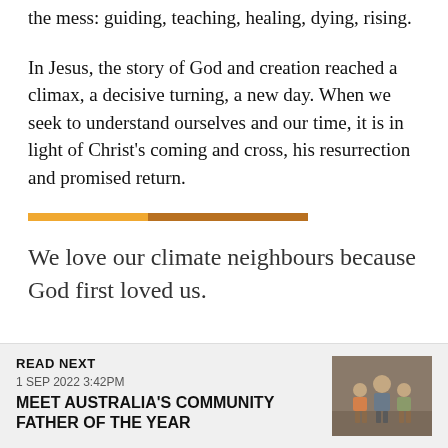the mess: guiding, teaching, healing, dying, rising.
In Jesus, the story of God and creation reached a climax, a decisive turning, a new day. When we seek to understand ourselves and our time, it is in light of Christ's coming and cross, his resurrection and promised return.
[Figure (other): Two-tone horizontal bar divider: light orange segment followed by dark orange/brown segment]
We love our climate neighbours because God first loved us.
READ NEXT
1 SEP 2022 3:42PM
MEET AUSTRALIA'S COMMUNITY FATHER OF THE YEAR
[Figure (photo): Photo of a man sitting with children, family portrait style]